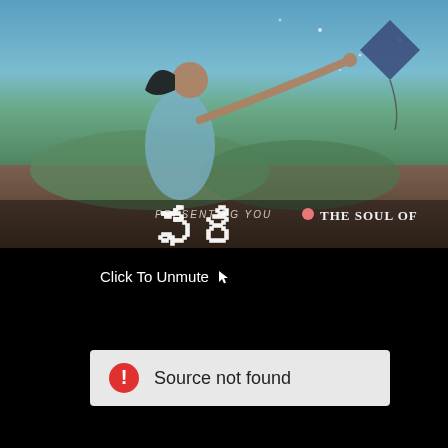[Figure (illustration): Movie poster showing a woman in a blue sari reaching out toward kites on a stormy background. Text reads 'PRESENTING YOU • THE SOUL OF' with Telugu script below.]
Click To Unmute
Source not found